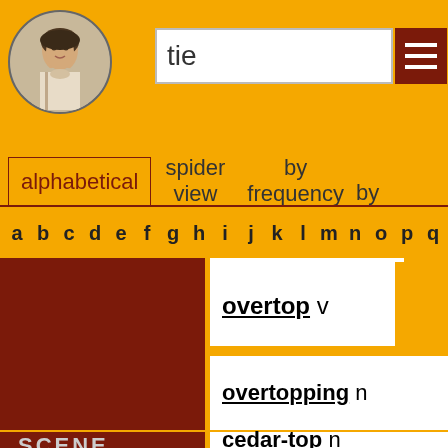[Figure (screenshot): Shakespeare portrait in circular frame]
tie
[Figure (other): Hamburger menu button (dark red background with three white lines)]
alphabetical  spider view  by frequency  by
a b c d e f g h i j k l m n o p q
[Figure (other): Dark red block (spider/visualization area)]
overtop v
overtopping n
[Figure (other): Dark red block (second row)]
SCENE
cedar-top n